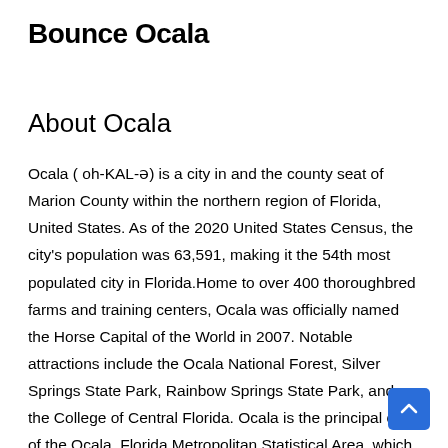Bounce Ocala
About Ocala
Ocala ( oh-KAL-ə) is a city in and the county seat of Marion County within the northern region of Florida, United States. As of the 2020 United States Census, the city's population was 63,591, making it the 54th most populated city in Florida.Home to over 400 thoroughbred farms and training centers, Ocala was officially named the Horse Capital of the World in 2007. Notable attractions include the Ocala National Forest, Silver Springs State Park, Rainbow Springs State Park, and the College of Central Florida. Ocala is the principal city of the Ocala, Florida Metropolitan Statistical Area, which had an estimated 2017 population of 354,353. == History ==